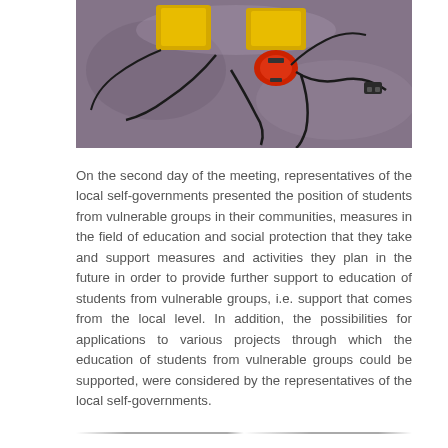[Figure (photo): Overhead photo of electronic/mechanical equipment including yellow boxes and cables with a red device on a purple/grey surface]
On the second day of the meeting, representatives of the local self-governments presented the position of students from vulnerable groups in their communities, measures in the field of education and social protection that they take and support measures and activities they plan in the future in order to provide further support to education of students from vulnerable groups, i.e. support that comes from the local level. In addition, the possibilities for applications to various projects through which the education of students from vulnerable groups could be supported, were considered by the representatives of the local self-governments.